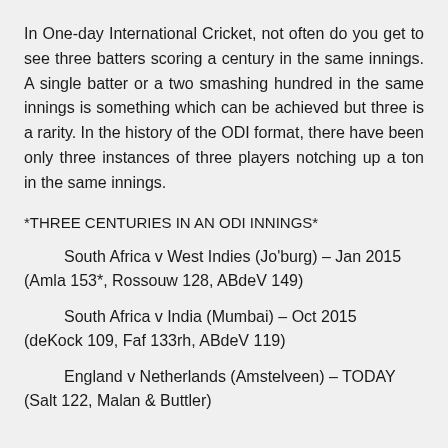In One-day International Cricket, not often do you get to see three batters scoring a century in the same innings. A single batter or a two smashing hundred in the same innings is something which can be achieved but three is a rarity. In the history of the ODI format, there have been only three instances of three players notching up a ton in the same innings.
*THREE CENTURIES IN AN ODI INNINGS*
South Africa v West Indies (Jo'burg) – Jan 2015
(Amla 153*, Rossouw 128, ABdeV 149)
South Africa v India (Mumbai) – Oct 2015
(deKock 109, Faf 133rh, ABdeV 119)
England v Netherlands (Amstelveen) – TODAY
(Salt 122, Malan & Buttler)